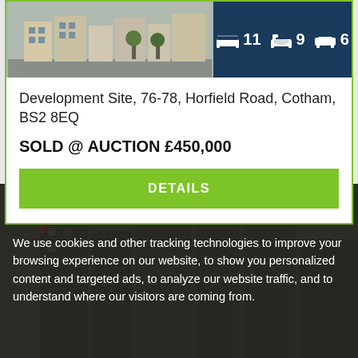[Figure (illustration): Property illustration of development site buildings with dark blue panel showing amenity icons: bed (11), bath (9), sofa (6)]
Development Site, 76-78, Horfield Road, Cotham, BS2 8EQ
SOLD @ AUCTION £450,000
DETAILS
We use cookies
We use cookies and other tracking technologies to improve your browsing experience on our website, to show you personalized content and targeted ads, to analyze our website traffic, and to understand where our visitors are coming from.